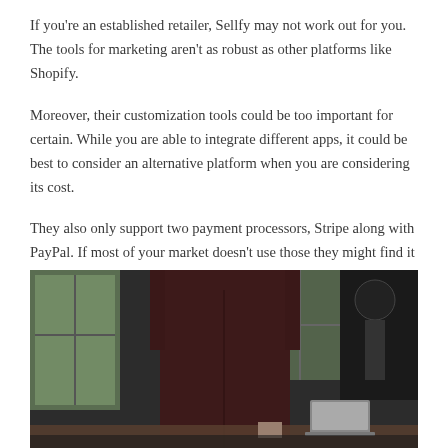If you're an established retailer, Sellfy may not work out for you. The tools for marketing aren't as robust as other platforms like Shopify.
Moreover, their customization tools could be too important for certain. While you are able to integrate different apps, it could be best to consider an alternative platform when you are considering its cost.
They also only support two payment processors, Stripe along with PayPal. If most of your market doesn't use those they might find it difficult for them to purchase from you.
[Figure (photo): Person in dark maroon/burgundy shirt standing near a desk in a modern office or studio environment, with windows in the background and a laptop visible on the desk.]